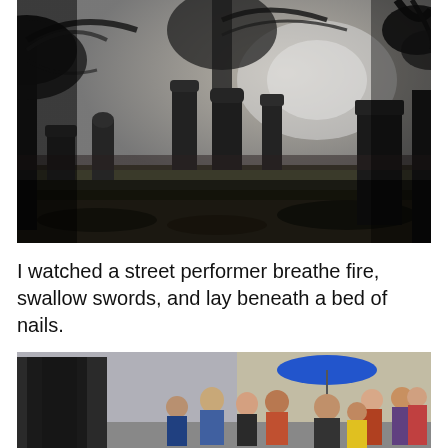[Figure (photo): Black and white photograph of a cemetery with multiple gravestones and headstones of various sizes, trees in the background, fallen leaves on the ground, moody overcast sky.]
I watched a street performer breathe fire, swallow swords, and lay beneath a bed of nails.
[Figure (photo): Color photograph showing a street performer in dark clothing on the left, and a crowd of spectators including children watching, some holding a blue umbrella, in an outdoor urban setting.]